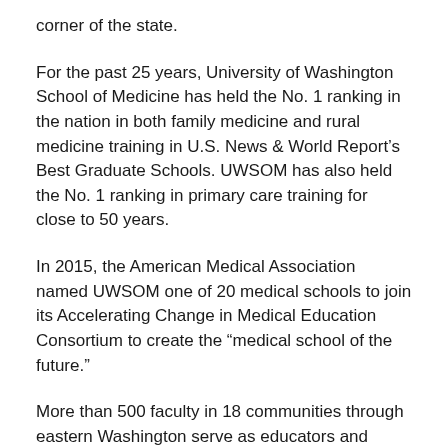corner of the state.
For the past 25 years, University of Washington School of Medicine has held the No. 1 ranking in the nation in both family medicine and rural medicine training in U.S. News & World Report's Best Graduate Schools. UWSOM has also held the No. 1 ranking in primary care training for close to 50 years.
In 2015, the American Medical Association named UWSOM one of 20 medical schools to join its Accelerating Change in Medical Education Consortium to create the “medical school of the future.”
More than 500 faculty in 18 communities through eastern Washington serve as educators and mentors for UW medical students.